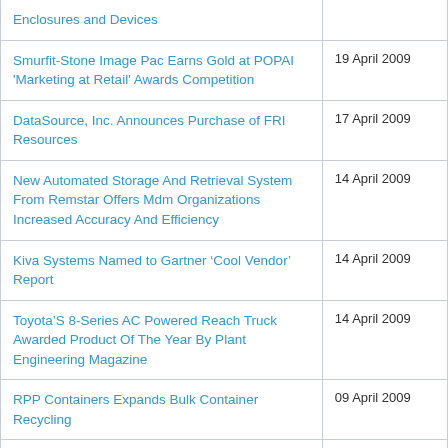| Title | Date |
| --- | --- |
| Enclosures and Devices |  |
| Smurfit-Stone Image Pac Earns Gold at POPAI 'Marketing at Retail' Awards Competition | 19 April 2009 |
| DataSource, Inc. Announces Purchase of FRI Resources | 17 April 2009 |
| New Automated Storage And Retrieval System From Remstar Offers Mdm Organizations Increased Accuracy And Efficiency | 14 April 2009 |
| Kiva Systems Named to Gartner ‘Cool Vendor’ Report | 14 April 2009 |
| Toyota'S 8-Series AC Powered Reach Truck Awarded Product Of The Year By Plant Engineering Magazine | 14 April 2009 |
| RPP Containers Expands Bulk Container Recycling | 09 April 2009 |
| Audi to Implement Wireless Industrial | 09 April 2009 |